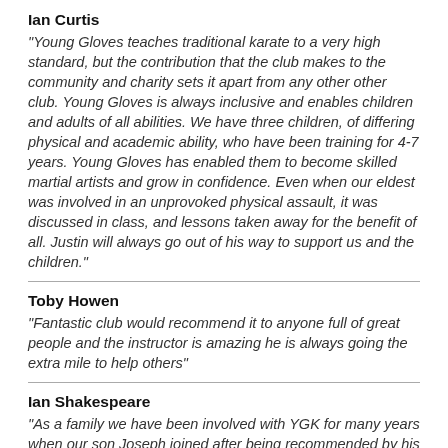Ian Curtis
"Young Gloves teaches traditional karate to a very high standard, but the contribution that the club makes to the community and charity sets it apart from any other other club. Young Gloves is always inclusive and enables children and adults of all abilities. We have three children, of differing physical and academic ability, who have been training for 4-7 years. Young Gloves has enabled them to become skilled martial artists and grow in confidence. Even when our eldest was involved in an unprovoked physical assault, it was discussed in class, and lessons taken away for the benefit of all. Justin will always go out of his way to support us and the children."
Toby Howen
"Fantastic club would recommend it to anyone full of great people and the instructor is amazing he is always going the extra mile to help others"
Ian Shakespeare
"As a family we have been involved with YGK for many years when our son Joseph joined after being recommended by his head teacher at Franche School Mrs Weddell Hall. Joseph had been bullied and